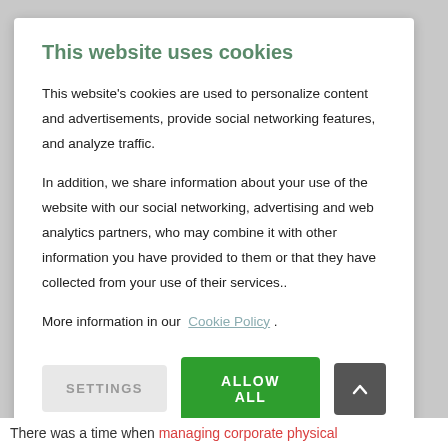This website uses cookies
This website's cookies are used to personalize content and advertisements, provide social networking features, and analyze traffic.
In addition, we share information about your use of the website with our social networking, advertising and web analytics partners, who may combine it with other information you have provided to them or that they have collected from your use of their services..
More information in our Cookie Policy .
SETTINGS   ALLOW ALL   ↑
There was a time when managing corporate physical